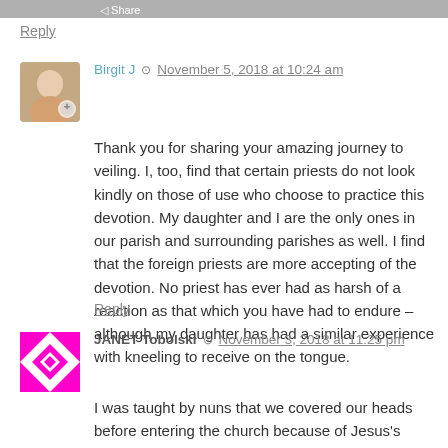◁ Share
Reply
Birgit J  ⊙  November 5, 2018 at 10:24 am
Thank you for sharing your amazing journey to veiling. I, too, find that certain priests do not look kindly on those of use who choose to practice this devotion. My daughter and I are the only ones in our parish and surrounding parishes as well. I find that the foreign priests are more accepting of the devotion. No priest has ever had as harsh of a reaction as that which you have had to endure – although my daughter has had a similar experience with kneeling to receive on the tongue.
Reply
JANET Tobolski  ⊙  November 3, 2018 at 11:25 pm
I was taught by nuns that we covered our heads before entering the church because of Jesus's presence and for no other reason. The bins would stand at the door with Kleenex